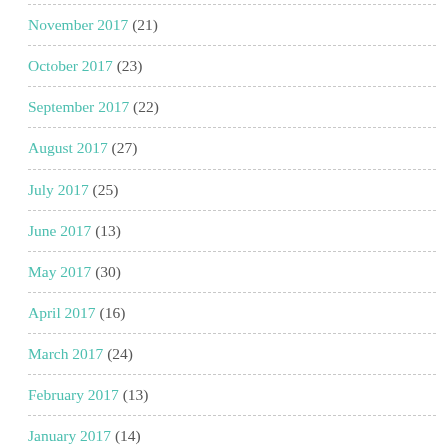November 2017 (21)
October 2017 (23)
September 2017 (22)
August 2017 (27)
July 2017 (25)
June 2017 (13)
May 2017 (30)
April 2017 (16)
March 2017 (24)
February 2017 (13)
January 2017 (14)
December 2016 (27)